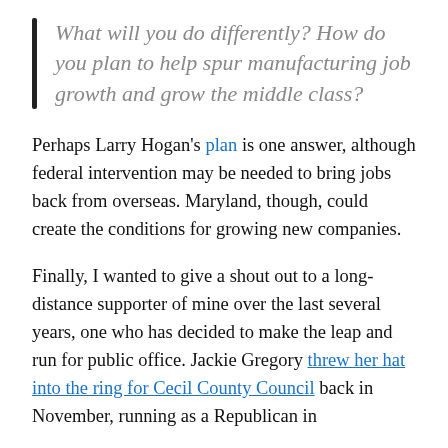What will you do differently? How do you plan to help spur manufacturing job growth and grow the middle class?
Perhaps Larry Hogan's plan is one answer, although federal intervention may be needed to bring jobs back from overseas. Maryland, though, could create the conditions for growing new companies.
Finally, I wanted to give a shout out to a long-distance supporter of mine over the last several years, one who has decided to make the leap and run for public office. Jackie Gregory threw her hat into the ring for Cecil County Council back in November, running as a Republican in